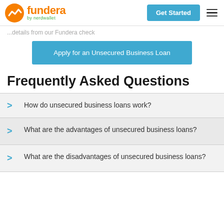fundera by nerdwallet — Get Started
...details from our Fundera check
Apply for an Unsecured Business Loan
Frequently Asked Questions
How do unsecured business loans work?
What are the advantages of unsecured business loans?
What are the disadvantages of unsecured business loans?